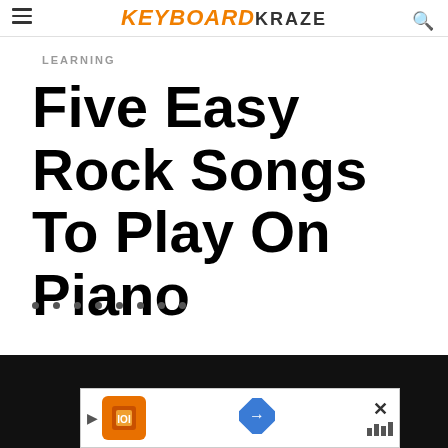KEYBOARD KRAZE
LEARNING
Five Easy Rock Songs To Play On Piano
[Figure (other): Decorative dots row separator (8 small dark dots)]
[Figure (screenshot): Dark background image with an advertisement overlay banner at the bottom showing an orange logo icon, a blue navigation diamond arrow, and a close X button with bar icons]